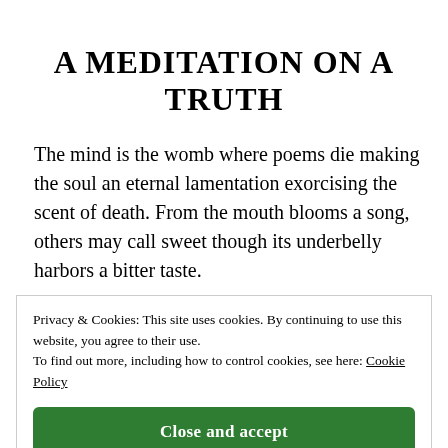A MEDITATION ON A TRUTH
The mind is the womb where poems die making the soul an eternal lamentation exorcising the scent of death. From the mouth blooms a song, others may call sweet though its underbelly harbors a bitter taste.
Privacy & Cookies: This site uses cookies. By continuing to use this website, you agree to their use.
To find out more, including how to control cookies, see here: Cookie Policy
Close and accept
Poetry